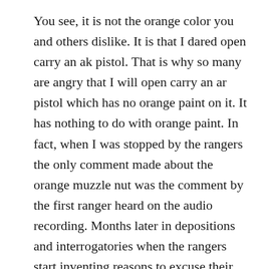You see, it is not the orange color you and others dislike. It is that I dared open carry an ak pistol. That is why so many are angry that I will open carry an ar pistol which has no orange paint on it. It has nothing to do with orange paint. In fact, when I was stopped by the rangers the only comment made about the orange muzzle nut was the comment by the first ranger heard on the audio recording. Months later in depositions and interrogatories when the rangers start inventing reasons to excuse their behavior is when the orange muzzle nut became an issue. In the end it is an